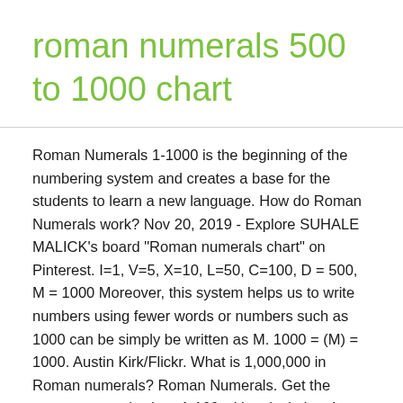roman numerals 500 to 1000 chart
Roman Numerals 1-1000 is the beginning of the numbering system and creates a base for the students to learn a new language. How do Roman Numerals work? Nov 20, 2019 - Explore SUHALE MALICK's board "Roman numerals chart" on Pinterest. I=1, V=5, X=10, L=50, C=100, D = 500, M = 1000 Moreover, this system helps us to write numbers using fewer words or numbers such as 1000 can be simply be written as M. 1000 = (M) = 1000. Austin Kirk/Flickr. What is 1,000,000 in Roman numerals? Roman Numerals. Get the roman numerals chart 1-100 with calculation. In this system, they use symbols in a system of numerical notation based on the ancient Roman system. The Hindu-Arabic representation of